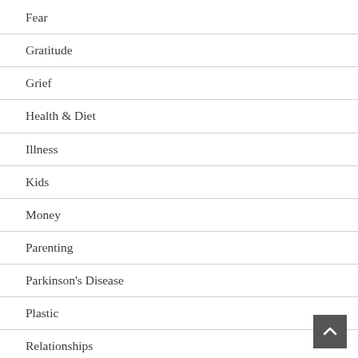Fear
Gratitude
Grief
Health & Diet
Illness
Kids
Money
Parenting
Parkinson's Disease
Plastic
Relationships
Self-awareness